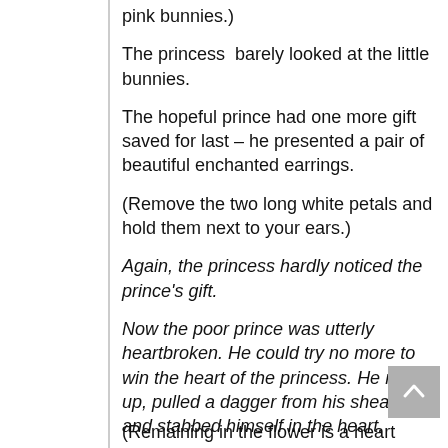pink bunnies.)
The princess  barely looked at the little bunnies.
The hopeful prince had one more gift saved for last – he presented a pair of beautiful enchanted earrings.
(Remove the two long white petals and hold them next to your ears.)
Again, the princess hardly noticed the prince's gift.
Now the poor prince was utterly heartbroken. He could try no more to win the heart of the princess. He rose up, pulled a dagger from his sheath, and stabbed himself in the heart.
(Remaining in the flower is a heart shape...